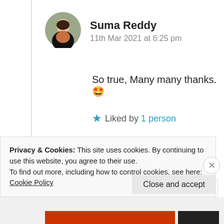[Figure (photo): Circular avatar photo of Suma Reddy]
Suma Reddy
11th Mar 2021 at 6:25 pm
So true, Many many thanks. 🤩
★ Liked by 1 person
Log in to Reply
[Figure (photo): Circular avatar photo of OMOLEYE]
OMOLEYE
Privacy & Cookies: This site uses cookies. By continuing to use this website, you agree to their use.
To find out more, including how to control cookies, see here: Cookie Policy
Close and accept